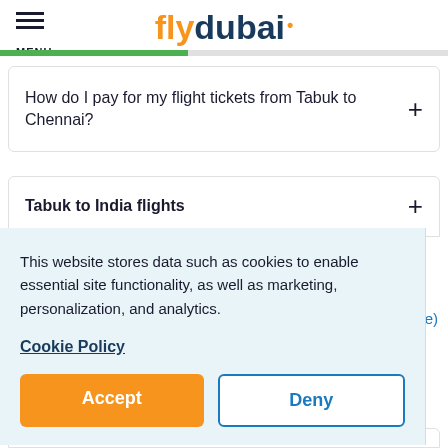flydubai
How do I pay for my flight tickets from Tabuk to Chennai?
Tabuk to India flights
This website stores data such as cookies to enable essential site functionality, as well as marketing, personalization, and analytics.
Cookie Policy
Accept
Deny
ngalore)